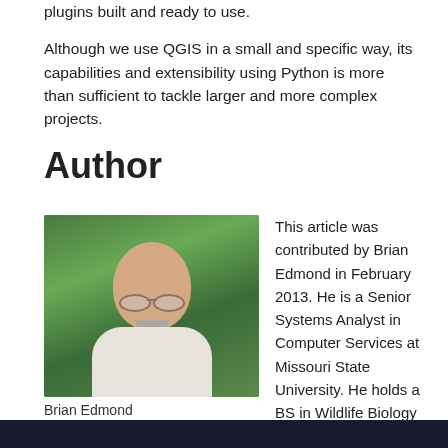plugins built and ready to use.
Although we use QGIS in a small and specific way, its capabilities and extensibility using Python is more than sufficient to tackle larger and more complex projects.
Author
[Figure (photo): Portrait photo of Brian Edmond, a middle-aged bald man wearing glasses and a white shirt, smiling, with green foliage in the background]
Brian Edmond
This article was contributed by Brian Edmond in February 2013. He is a Senior Systems Analyst in Computer Services at Missouri State University. He holds a BS in Wildlife Biology from the University of Missouri and has spent his career in the intergrade zone between biology and technology.